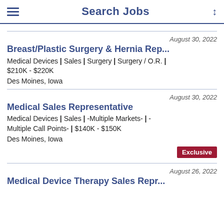Search Jobs
August 30, 2022
Breast/Plastic Surgery & Hernia Rep...
Medical Devices | Sales | Surgery | Surgery / O.R. | $210K - $220K
Des Moines, Iowa
August 30, 2022
Medical Sales Representative
Medical Devices | Sales | -Multiple Markets- | -Multiple Call Points- | $140K - $150K
Des Moines, Iowa
Exclusive
August 26, 2022
Medical Device Therapy Sales Repr...